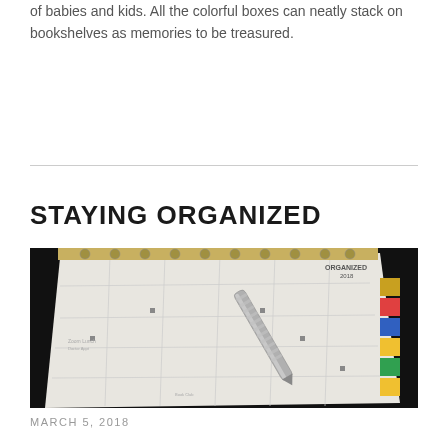of babies and kids. All the colorful boxes can neatly stack on bookshelves as memories to be treasured.
STAYING ORGANIZED
[Figure (photo): Close-up photograph of an open weekly planner/calendar with a decorative pen resting on it and colorful tab dividers on the right edge]
MARCH 5, 2018